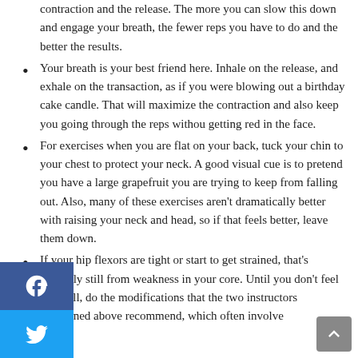contraction and the release. The more you can slow this down and engage your breath, the fewer reps you have to do and the better the results.
Your breath is your best friend here. Inhale on the release, and exhale on the transaction, as if you were blowing out a birthday cake candle. That will maximize the contraction and also keep you going through the reps withou getting red in the face.
For exercises when you are flat on your back, tuck your chin to your chest to protect your neck. A good visual cue is to pretend you have a large grapefruit you are trying to keep from falling out. Also, many of these exercises aren't dramatically better with raising your neck and head, so if that feels better, leave them down.
If your hip flexors are tight or start to get strained, that's probably still from weakness in your core. Until you don't feel that pull, do the modifications that the two instructors mentioned above recommend, which often involve